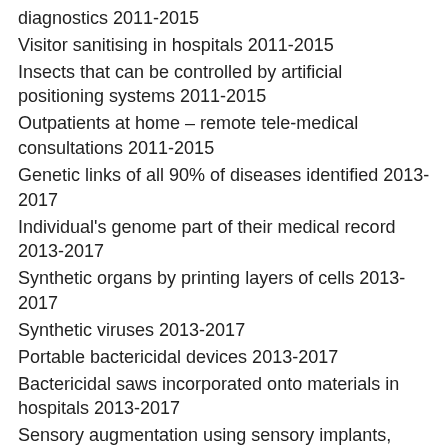diagnostics 2011-2015
Visitor sanitising in hospitals 2011-2015
Insects that can be controlled by artificial positioning systems 2011-2015
Outpatients at home – remote tele-medical consultations 2011-2015
Genetic links of all 90% of diseases identified 2013-2017
Individual's genome part of their medical record 2013-2017
Synthetic organs by printing layers of cells 2013-2017
Synthetic viruses 2013-2017
Portable bactericidal devices 2013-2017
Bactericidal saws incorporated onto materials in hospitals 2013-2017
Sensory augmentation using sensory implants, nanoparticles etc 2013-2017